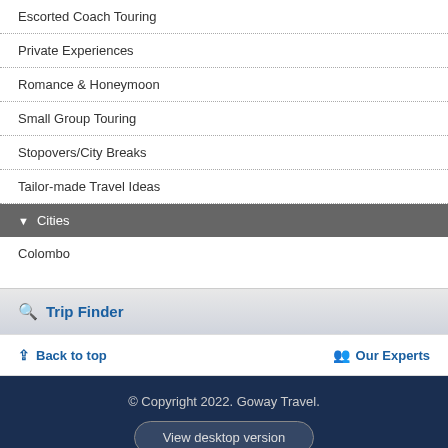Escorted Coach Touring
Private Experiences
Romance & Honeymoon
Small Group Touring
Stopovers/City Breaks
Tailor-made Travel Ideas
▼ Cities
Colombo
Trip Finder
Back to top
Our Experts
© Copyright 2022. Goway Travel.
View desktop version